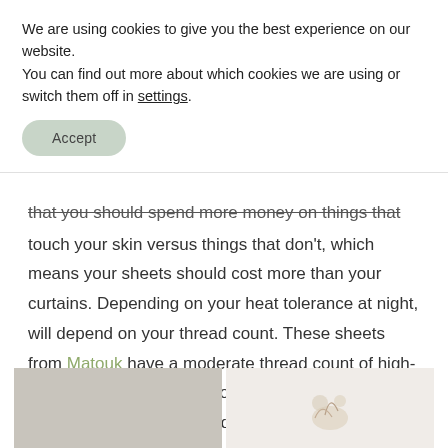We are using cookies to give you the best experience on our website.
You can find out more about which cookies we are using or switch them off in settings.
Accept
that you should spend more money on things that touch your skin versus things that don't, which means your sheets should cost more than your curtains. Depending on your heat tolerance at night, will depend on your thread count. These sheets from Matouk have a moderate thread count of high-quality cotton that helps your skin breath and also insulates you from the cold. Learn more about making the bed here.
[Figure (photo): Two product photos at the bottom of the page: left image shows a gray/beige textile or product, right image shows a decorative floral or botanical illustration on light background]